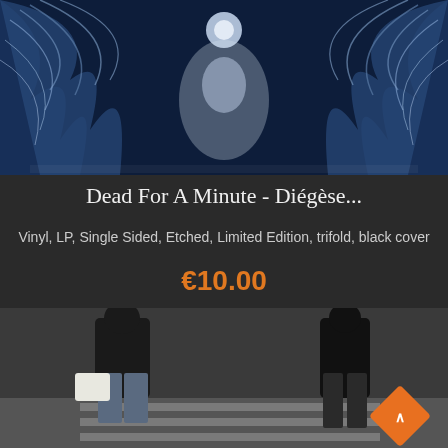[Figure (illustration): Dark blue and white artistic illustration showing ethereal winged figures or creatures against a dark starry background]
Dead For A Minute - Diégèse...
Vinyl, LP, Single Sided, Etched, Limited Edition, trifold, black cover
€10.00
[Figure (photo): Photo of two people walking, one carrying a white object, shot in a dark indoor setting like a parking garage or subway]